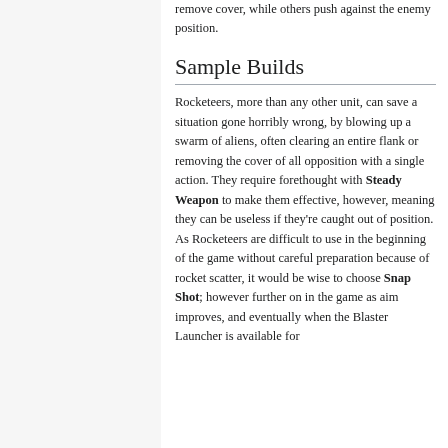remove cover, while others push against the enemy position.
Sample Builds
Rocketeers, more than any other unit, can save a situation gone horribly wrong, by blowing up a swarm of aliens, often clearing an entire flank or removing the cover of all opposition with a single action. They require forethought with Steady Weapon to make them effective, however, meaning they can be useless if they're caught out of position. As Rocketeers are difficult to use in the beginning of the game without careful preparation because of rocket scatter, it would be wise to choose Snap Shot; however further on in the game as aim improves, and eventually when the Blaster Launcher is available for